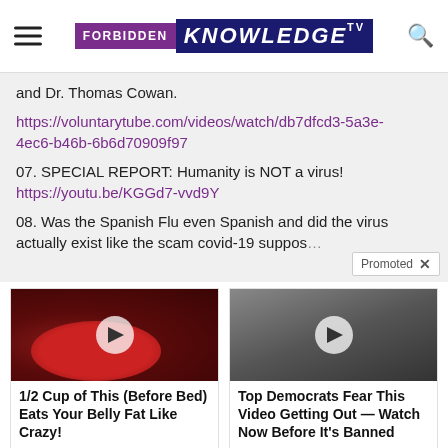FORBIDDEN KNOWLEDGE TV
and Dr. Thomas Cowan.
https://voluntarytube.com/videos/watch/db7dfcd3-5a3e-4ec6-b46b-6b6d70909f97

07. SPECIAL REPORT: Humanity is NOT a virus!
https://youtu.be/KGGd7-vvd9Y

08. Was the Spanish Flu even Spanish and did the virus actually exist like the scam covid-19 suppos...
[Figure (screenshot): Promoted ad overlay badge with X close button]
[Figure (photo): Thumbnail of red/dark food items on a plate with a play button overlay]
1/2 Cup of This (Before Bed) Eats Your Belly Fat Like Crazy!
Watch The Video
[Figure (photo): Thumbnail of a woman in a crowd with a play button overlay]
Top Democrats Fear This Video Getting Out — Watch Now Before It's Banned
Watch The Video